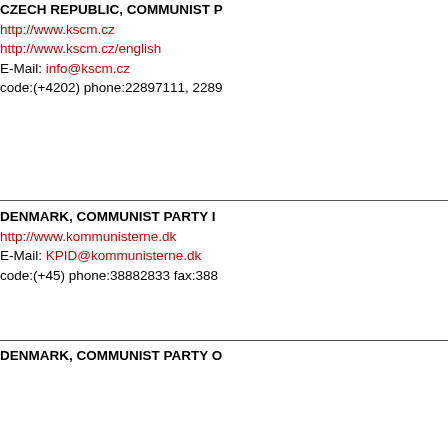CZECH REPUBLIC, COMMUNIST P[ARTY OF BOHEMIA AND MORAVIA]
http://www.kscm.cz
http://www.kscm.cz/english
E-Mail: info@kscm.cz
code:(+4202) phone:22897111, 2289...
DENMARK, COMMUNIST PARTY I[N DENMARK]
http://www.kommunisterne.dk
E-Mail: KPID@kommunisterne.dk
code:(+45) phone:38882833 fax:388...
DENMARK, COMMUNIST PARTY O[F DENMARK]
http://www.dkp.dk
E-Mail: dkp@dkp.dk,int@dkp.dk
code:(+45) phone: 33916644
DOMINICAN REPUBLIC, FORCE O[F THE REVOLUTION]
http://fuerzadelarevolucion.org
E-Mail: fuerzadelarevolucion@latinm...
E-Mail: frevolucion@latinmail.com
code: (+809) phone:685-9362 fax:68...
EGYPT, COMMUNIST PARTY OF E[GYPT]
http://www.cp-egypt.com